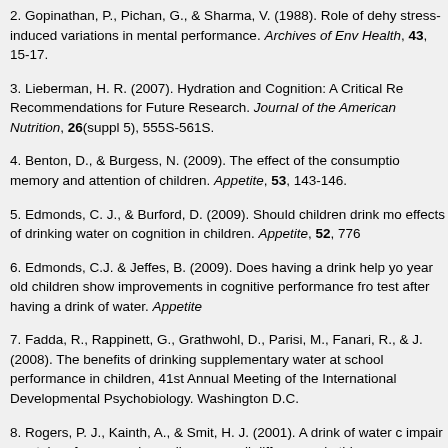2. Gopinathan, P., Pichan, G., & Sharma, V. (1988). Role of dehydration in heat stress-induced variations in mental performance. Archives of Environmental Health, 43, 15-17.
3. Lieberman, H. R. (2007). Hydration and Cognition: A Critical Review and Recommendations for Future Research. Journal of the American College of Nutrition, 26(suppl 5), 555S-561S.
4. Benton, D., & Burgess, N. (2009). The effect of the consumption of water on the memory and attention of children. Appetite, 53, 143-146.
5. Edmonds, C. J., & Burford, D. (2009). Should children drink more water?: The effects of drinking water on cognition in children. Appetite, 52, 776-
6. Edmonds, C.J. & Jeffes, B. (2009). Does having a drink help you think? 6-7 year old children show improvements in cognitive performance from a classroom-based test after having a drink of water. Appetite
7. Fadda, R., Rappinett, G., Grathwohl, D., Parisi, M., Fanari, R., & Schmitt, J. (2008). The benefits of drinking supplementary water at school on cognitive performance in children, 41st Annual Meeting of the International Society for Developmental Psychobiology. Washington D.C.
8. Rogers, P. J., Kainth, A., & Smit, H. J. (2001). A drink of water can improve or impair mental performance depending on small differences in thirs